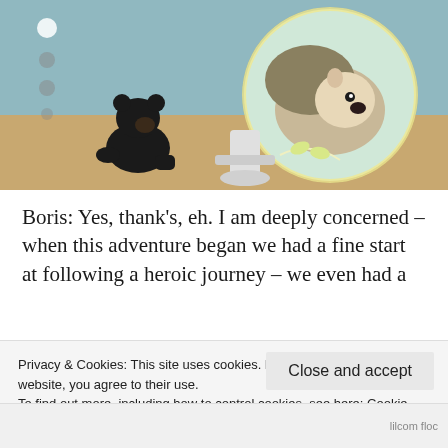[Figure (photo): Photo of a black bear figurine on the left and a hedgehog inside a circular frame overlay on the right, with a light blue/green background]
Boris: Yes, thank's, eh. I am deeply concerned – when this adventure began we had a fine start at following a heroic journey – we even had a
Privacy & Cookies: This site uses cookies. By continuing to use this website, you agree to their use.
To find out more, including how to control cookies, see here: Cookie Policy
Close and accept